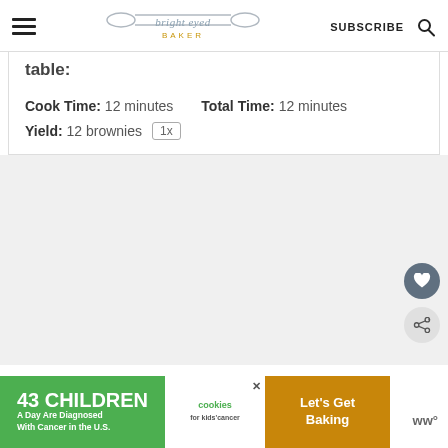bright eyed BAKER — SUBSCRIBE
table:
Cook Time: 12 minutes   Total Time: 12 minutes
Yield: 12 brownies 1x
[Figure (infographic): Advertisement banner: '43 CHILDREN A Day Are Diagnosed With Cancer in the U.S.' with cookies for kids' cancer logo and 'Let's Get Baking' text on an orange/green background.]